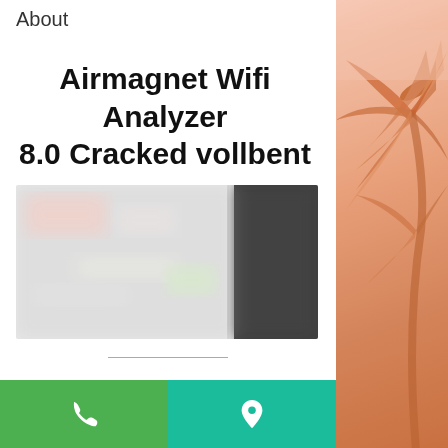About
Airmagnet Wifi Analyzer 8.0 Cracked vollbent
[Figure (screenshot): A blurred/obscured screenshot showing a software interface with dark and light regions, partially visible UI elements.]
[Figure (photo): Decorative right-side panel with a peach/salmon background and an illustrated or photographic palm tree leaf in orange/coral tones.]